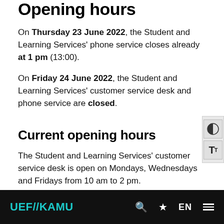Opening hours
On Thursday 23 June 2022, the Student and Learning Services' phone service closes already at 1 pm (13:00).
On Friday 24 June 2022, the Student and Learning Services' customer service desk and phone service are closed.
Current opening hours
The Student and Learning Services' customer service desk is open on Mondays, Wednesdays and Fridays from 10 am to 2 pm.
If you are unable to visit the customer service desk
UEF//KAMU EN